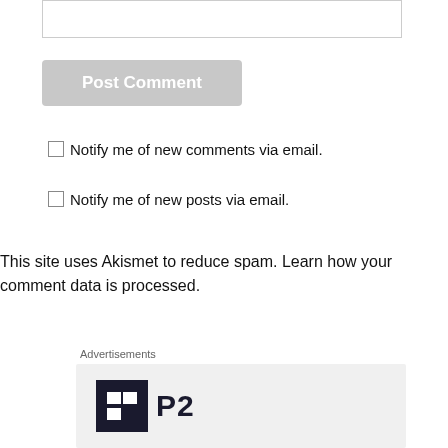[text input box]
Post Comment
Notify me of new comments via email.
Notify me of new posts via email.
This site uses Akismet to reduce spam. Learn how your comment data is processed.
Advertisements
[Figure (logo): P2 logo with dark square icon containing two rectangles and bold P2 text]